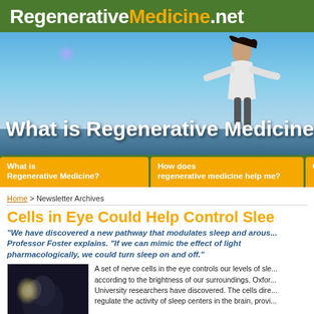RegenerativeMedicine.net
[Figure (photo): Hero banner image showing a woman with arms outstretched against a blue sky, with the text 'What is Regenerative Medicine' overlaid]
What is Regenerative Medicine?
How does regenerative medicine help me?
Ques
Home > Newsletter Archives
Cells in Eye Could Help Control Slee
"We have discovered a new pathway that modulates sleep and arous... Professor Foster explains. "If we can mimic the effect of light pharmacologically, we could turn sleep on and off."
[Figure (photo): Dark photo of a person's face/head in low light]
A set of nerve cells in the eye controls our levels of sle... according to the brightness of our surroundings, Oxfor... University researchers have discovered. The cells dire... regulate the activity of sleep centers in the brain, provi...